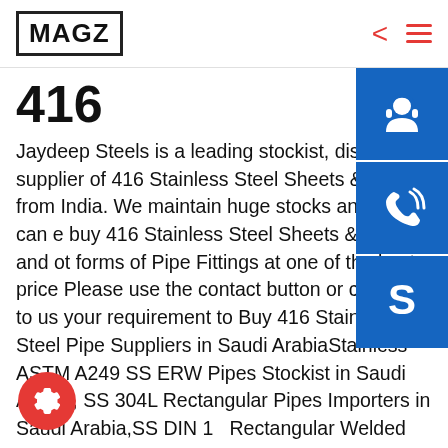MAGZ
416
Jaydeep Steels is a leading stockist, distributor and supplier of 416 Stainless Steel Sheets & Plates from India. We maintain huge stocks and you can easily buy 416 Stainless Steel Sheets & Plates and other forms of Pipe Fittings at one of the best prices. Please use the contact button or click here to send us your requirement to Buy 416 Stainless Steel Pipe Suppliers in Saudi ArabiaStainless ASTM A249 SS ERW Pipes Stockist in Saudi Arabia, SS 304L Rectangular Pipes Importers in Saudi Arabia,SS DIN 1 Rectangular Welded Pipes,SS WNR 1.4435 Forged Bar Importers in Saudi Arabia,ASTM A276